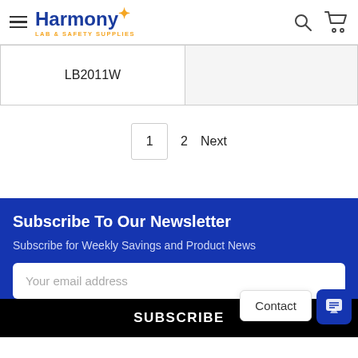Harmony Lab & Safety Supplies — navigation header with hamburger menu, logo, search and cart icons
LB2011W
1  2  Next
Subscribe To Our Newsletter
Subscribe for Weekly Savings and Product News
Your email address
SUBSCRIBE
Contact